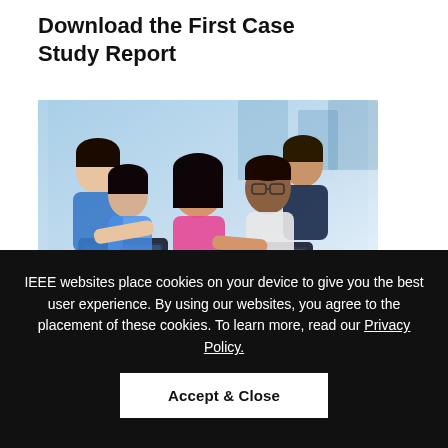Download the First Case Study Report
[Figure (photo): Group of children huddled together looking at a tablet device on a desk, smiling. Diverse group of approximately 5 children in a classroom setting.]
Eleven case studies of companies applying principles of age-appropriate, inclusive design
IEEE websites place cookies on your device to give you the best user experience. By using our websites, you agree to the placement of these cookies. To learn more, read our Privacy Policy.
Accept & Close